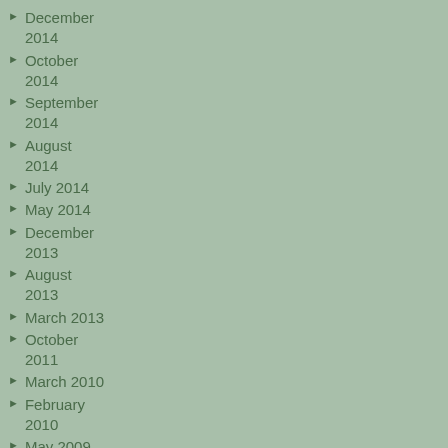December 2014
October 2014
September 2014
August 2014
July 2014
May 2014
December 2013
August 2013
March 2013
October 2011
March 2010
February 2010
May 2009
June 2008